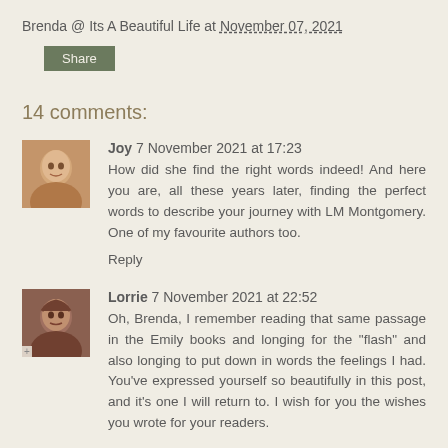Brenda @ Its A Beautiful Life at November 07, 2021
Share
14 comments:
Joy 7 November 2021 at 17:23
How did she find the right words indeed! And here you are, all these years later, finding the perfect words to describe your journey with LM Montgomery. One of my favourite authors too.
Reply
Lorrie 7 November 2021 at 22:52
Oh, Brenda, I remember reading that same passage in the Emily books and longing for the "flash" and also longing to put down in words the feelings I had. You've expressed yourself so beautifully in this post, and it's one I will return to. I wish for you the wishes you wrote for your readers.